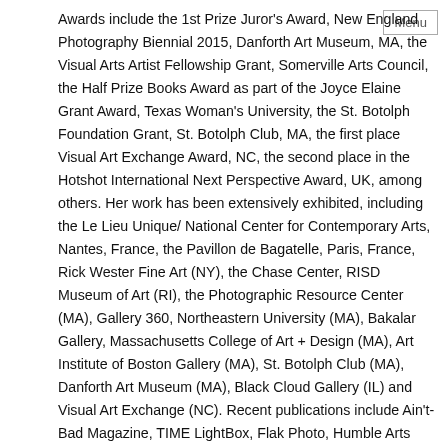Awards include the 1st Prize Juror's Award, New England Photography Biennial 2015, Danforth Art Museum, MA, the Visual Arts Artist Fellowship Grant, Somerville Arts Council, the Half Prize Books Award as part of the Joyce Elaine Grant Award, Texas Woman's University, the St. Botolph Foundation Grant, St. Botolph Club, MA, the first place Visual Art Exchange Award, NC, the second place in the Hotshot International Next Perspective Award, UK, among others. Her work has been extensively exhibited, including the Le Lieu Unique/ National Center for Contemporary Arts, Nantes, France, the Pavillon de Bagatelle, Paris, France, Rick Wester Fine Art (NY), the Chase Center, RISD Museum of Art (RI), the Photographic Resource Center (MA), Gallery 360, Northeastern University (MA), Bakalar Gallery, Massachusetts College of Art + Design (MA), Art Institute of Boston Gallery (MA), St. Botolph Club (MA), Danforth Art Museum (MA), Black Cloud Gallery (IL) and Visual Art Exchange (NC). Recent publications include Ain't-Bad Magazine, TIME LightBox, Flak Photo, Humble Arts Women in Photography, Prison Photography, One One Thousand -